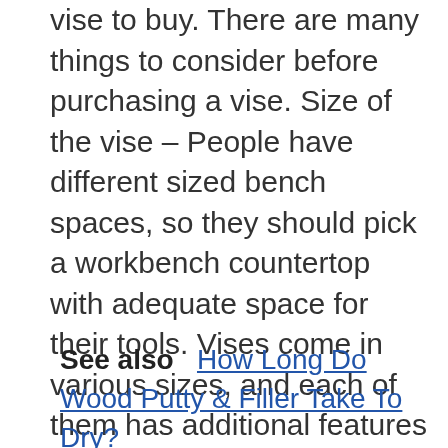vise to buy. There are many things to consider before purchasing a vise. Size of the vise – People have different sized bench spaces, so they should pick a workbench countertop with adequate space for their tools. Vises come in various sizes, and each of them has additional features which you can read about online if it is necessary to buy that particular size.
See also   How Long Do Wood Putty & Filler Take To Dry?